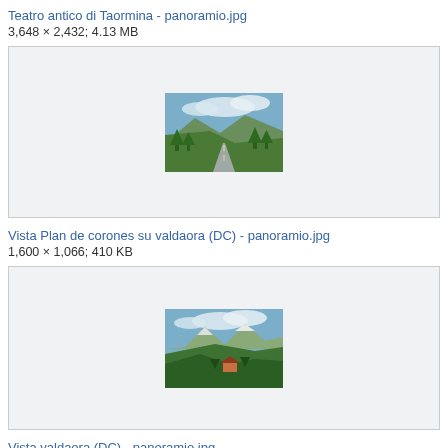Teatro antico di Taormina - panoramio.jpg
3,648 × 2,432; 4.13 MB
[Figure (photo): Landscape photo showing a road through a green mountain valley with trees and mountains in background under cloudy sky]
Vista Plan de corones su valdaora (DC) - panoramio.jpg
1,600 × 1,066; 410 KB
[Figure (photo): Landscape photo showing a mountain panorama with green hills, a farmhouse, forested slopes and snow-capped mountains under cloudy sky]
Vista valdaora (DC) - panoramio.jpg